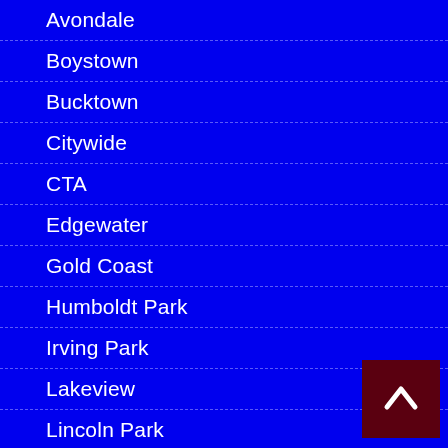Avondale
Boystown
Bucktown
Citywide
CTA
Edgewater
Gold Coast
Humboldt Park
Irving Park
Lakeview
Lincoln Park
Lincoln Square
Logan Square
Loop